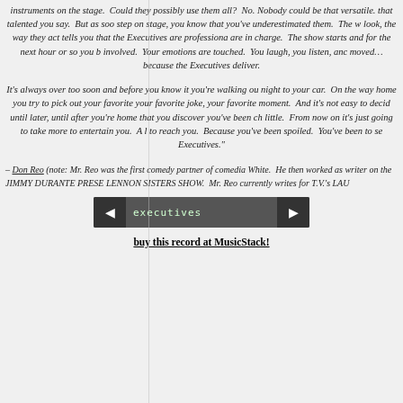instruments on the stage. Could they possibly use them all? No. Nobody could be that versatile. that talented you say. But as soon as they step on stage, you know that you've underestimated them. The way they look, the way they act tells you that the Executives are professionals who are in charge. The show starts and for the next hour or so you become involved. Your emotions are touched. You laugh, you listen, and you are moved… because the Executives deliver.
It's always over too soon and before you know it you're walking out into the night to your car. On the way home you try to pick out your favorite song, your favorite joke, your favorite moment. And it's not easy to decide. It isn't until later, until after you're home that you discover you've been changed a little. From now on it's just going to take more to entertain you. A little more to reach you. Because you've been spoiled. You've been to see the Executives."
– Don Reo (note: Mr. Reo was the first comedy partner of comedian Betty White. He then worked as writer on the JIMMY DURANTE PRESENTS THE LENNON SISTERS SHOW. Mr. Reo currently writes for T.V.'s LAU
[Figure (other): Audio player bar with left arrow button, label 'executives', and right arrow button]
buy this record at MusicStack!